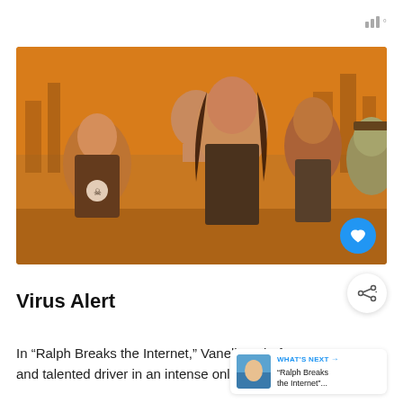[Figure (photo): Animated characters from Ralph Breaks the Internet: a group of five animated characters including a woman in a leather jacket at center, others around her in a warm orange/amber lit street scene]
Virus Alert
In “Ralph Breaks the Internet,” Vanellope bef... and talented driver in an intense online racing game,